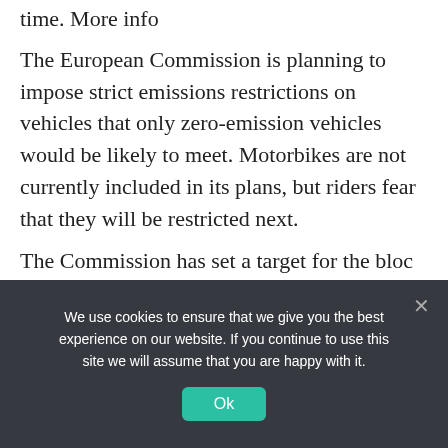time. More info
The European Commission is planning to impose strict emissions restrictions on vehicles that only zero-emission vehicles would be likely to meet. Motorbikes are not currently included in its plans, but riders fear that they will be restricted next.
The Commission has set a target for the bloc to reduce its net greenhouse gas emissions by at least 55 percent by 2030, compared to 1990
We use cookies to ensure that we give you the best experience on our website. If you continue to use this site we will assume that you are happy with it.